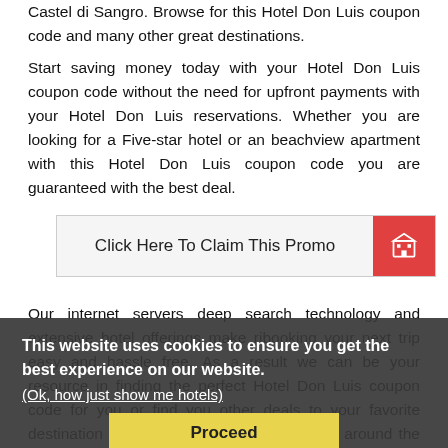Castel di Sangro. Browse for this Hotel Don Luis coupon code and many other great destinations. Start saving money today with your Hotel Don Luis coupon code without the need for upfront payments with your Hotel Don Luis reservations. Whether you are looking for a Five-star hotel or an beachview apartment with this Hotel Don Luis coupon code you are guaranteed with the best deal.
[Figure (other): Button labeled 'Click Here To Claim This Promo' with a red square icon containing a building/hotel symbol on the right]
Our internet servers deep search technology and extensive hotel offerings makeribooking your next trip easy and hassle free. As a result we can be your resource in finding the perfect Hotel Don Luis coupon code for you or find you other deals to your favorite destination in Castel di Sangro or anywhere around the world. With this Hotel Don Luis coupon code you can book your reservation any way you want. Whether you are traveling
This website uses cookies to ensure you get the best experience on our website. (Ok, how just show me hotels)
[Figure (other): Yellow 'Proceed' button overlay on cookie consent banner]